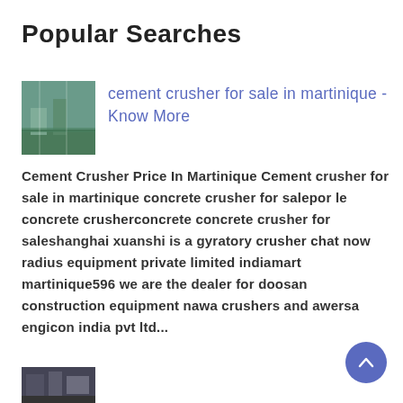Popular Searches
cement crusher for sale in martinique - Know More
Cement Crusher Price In Martinique Cement crusher for sale in martinique concrete crusher for salepor le concrete crusherconcrete concrete crusher for saleshanghai xuanshi is a gyratory crusher chat now radius equipment private limited indiamart martinique596 we are the dealer for doosan construction equipment nawa crushers and awersa engicon india pvt ltd...